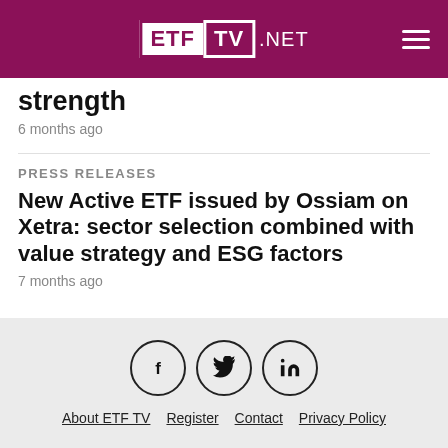ETF TV .NET
strength
6 months ago
PRESS RELEASES
New Active ETF issued by Ossiam on Xetra: sector selection combined with value strategy and ESG factors
7 months ago
About ETF TV  Register  Contact  Privacy Policy